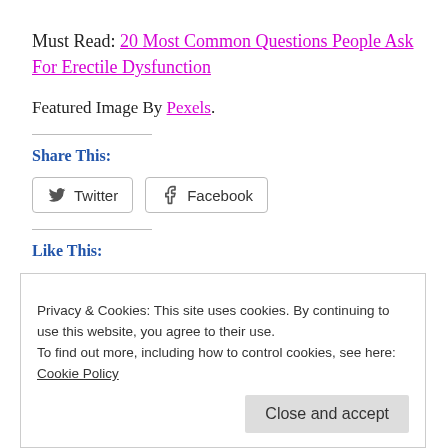Must Read: 20 Most Common Questions People Ask For Erectile Dysfunction
Featured Image By Pexels.
Share This:
[Figure (other): Twitter and Facebook share buttons]
Like This:
Privacy & Cookies: This site uses cookies. By continuing to use this website, you agree to their use. To find out more, including how to control cookies, see here: Cookie Policy
Close and accept